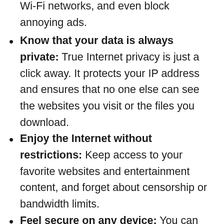Wi-Fi networks, and even block annoying ads.
Know that your data is always private: True Internet privacy is just a click away. It protects your IP address and ensures that no one else can see the websites you visit or the files you download.
Enjoy the Internet without restrictions: Keep access to your favorite websites and entertainment content, and forget about censorship or bandwidth limits.
Feel secure on any device: You can protect up to 6 devices with a single NordVPN for Mac account: computers, smartphones, routers, etc.
VPN has never been so easy and flexible – at